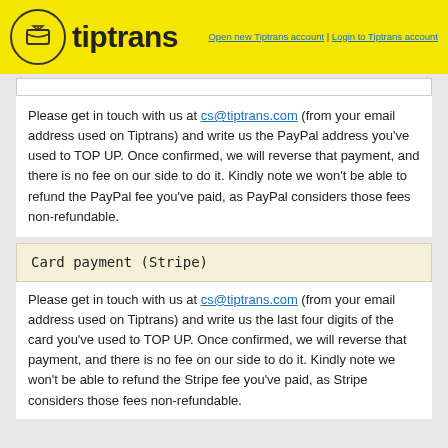tiptrans | Open new Tiptrans account | Login to Tiptrans account
Please get in touch with us at cs@tiptrans.com (from your email address used on Tiptrans) and write us the PayPal address you've used to TOP UP. Once confirmed, we will reverse that payment, and there is no fee on our side to do it. Kindly note we won't be able to refund the PayPal fee you've paid, as PayPal considers those fees non-refundable.
Card payment (Stripe)
Please get in touch with us at cs@tiptrans.com (from your email address used on Tiptrans) and write us the last four digits of the card you've used to TOP UP. Once confirmed, we will reverse that payment, and there is no fee on our side to do it. Kindly note we won't be able to refund the Stripe fee you've paid, as Stripe considers those fees non-refundable.